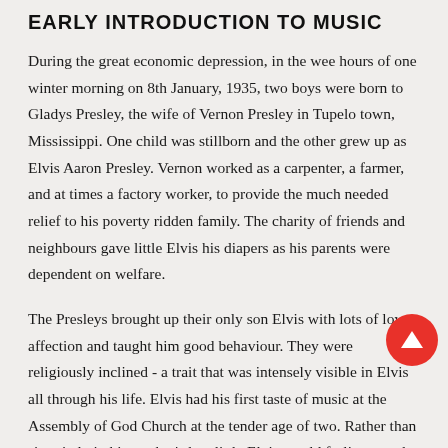EARLY INTRODUCTION TO MUSIC
During the great economic depression, in the wee hours of one winter morning on 8th January, 1935, two boys were born to Gladys Presley, the wife of Vernon Presley in Tupelo town, Mississippi. One child was stillborn and the other grew up as Elvis Aaron Presley. Vernon worked as a carpenter, a farmer, and at times a factory worker, to provide the much needed relief to his poverty ridden family. The charity of friends and neighbours gave little Elvis his diapers as his parents were dependent on welfare.
The Presleys brought up their only son Elvis with lots of love, affection and taught him good behaviour. They were religiously inclined - a trait that was intensely visible in Elvis all through his life. Elvis had his first taste of music at the Assembly of God Church at the tender age of two. Rather than sit quietly in his mother's lap, little Elvis would frolic around and try to sing with the choir where his parents